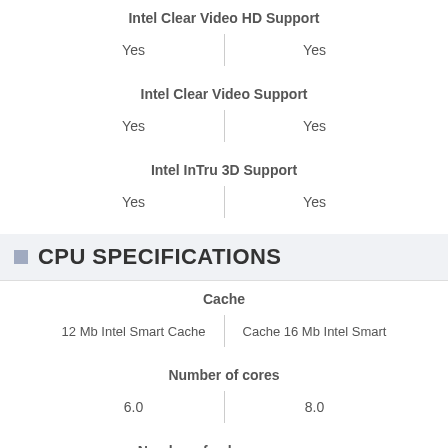Intel Clear Video HD Support
Yes | Yes
Intel Clear Video Support
Yes | Yes
Intel InTru 3D Support
Yes | Yes
CPU SPECIFICATIONS
Cache
12 Mb Intel Smart Cache | Cache 16 Mb Intel Smart
Number of cores
6.0 | 8.0
Number of sub-processes
12.0 | 16.0
Processor base frequency